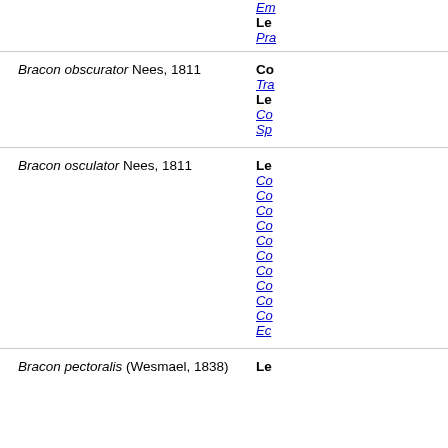Em... Le... Pra... (partial row at top)
Bracon obscurator Nees, 1811
Co... Tra... Le... Co... Sp...
Bracon osculator Nees, 1811
Le... Co... Co... Co... Co... Co... Co... Co... Co... Co... Co... Ec...
Bracon pectoralis (Wesmael, 1838)
Le...